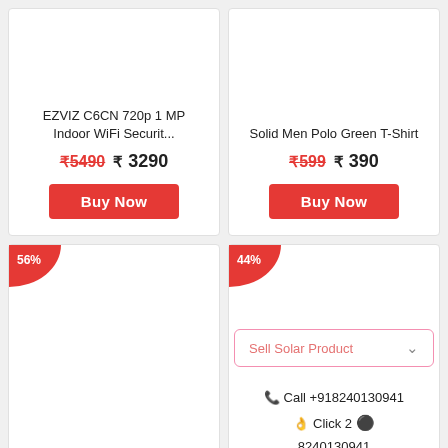EZVIZ C6CN 720p 1 MP Indoor WiFi Securit...
₹5490  ₹ 3290
Buy Now
Solid Men Polo Green T-Shirt
₹599  ₹ 390
Buy Now
56%
44%
Sell Solar Product ∨
☎ Call +918240130941
🖐 Click 2 💬 8240130941
Solid Men Red R...